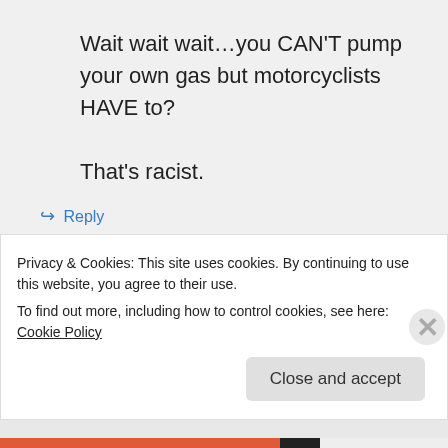Wait wait wait…you CAN'T pump your own gas but motorcyclists HAVE to?

That's racist.
↵ Reply
The Byronic Man on July 19, 2012 at 9:17 am
Privacy & Cookies: This site uses cookies. By continuing to use this website, you agree to their use.
To find out more, including how to control cookies, see here: Cookie Policy
Close and accept